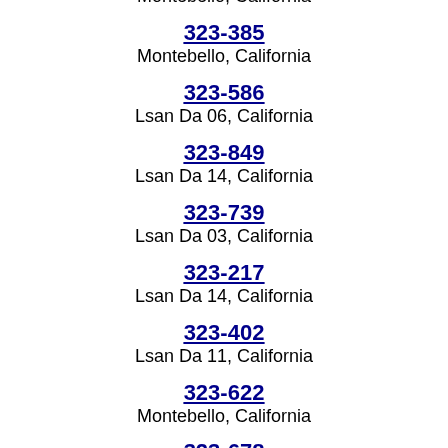Montebello, California
323-385
Montebello, California
323-586
Lsan Da 06, California
323-849
Lsan Da 14, California
323-739
Lsan Da 03, California
323-217
Lsan Da 14, California
323-402
Lsan Da 11, California
323-622
Montebello, California
323-678
Lsan Da 09, California
323-702